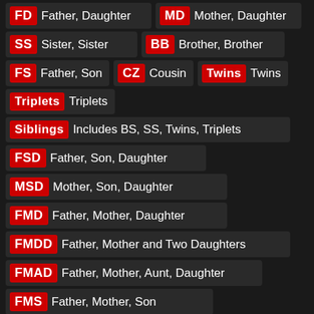FD Father, Daughter
MD Mother, Daughter
SS Sister, Sister
BB Brother, Brother
FS Father, Son
CZ Cousin
Twins Twins
Triplets Triplets
Siblings Includes BS, SS, Twins, Triplets
FSD Father, Son, Daughter
MSD Mother, Son, Daughter
FMD Father, Mother, Daughter
FMDD Father, Mother and Two Daughters
FMAD Father, Mother, Aunt, Daughter
FMS Father, Mother, Son